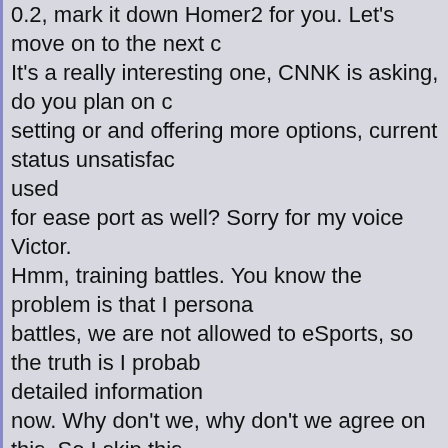0.2, mark it down Homer2 for you. Let's move on to the next one. It's a really interesting one, CNNK is asking, do you plan on changing the setting or and offering more options, current status unsatisfactory, used for ease port as well? Sorry for my voice Victor. Hmm, training battles. You know the problem is that I personally love training battles, we are not allowed to eSports, so the truth is I probably have detailed information now. Why don't we, why don't we agree on this. So I skip this question, gamescom is over this Sunday you go to the office, immediately talk to the guys the producer guys from Minsk and just demand, I know they are working on this topic. I just don't know what particular features so guys please wait and I will fetch you the exact answer from the headquarters and you will get detailed information and what is going to be changed with, with training battles can be. So I'm back in Paris now, one week later after Gamescom, m this before guys But, I called the Devs, even without the permission from Victor, answers! So the answer for this was quite interesting for me.